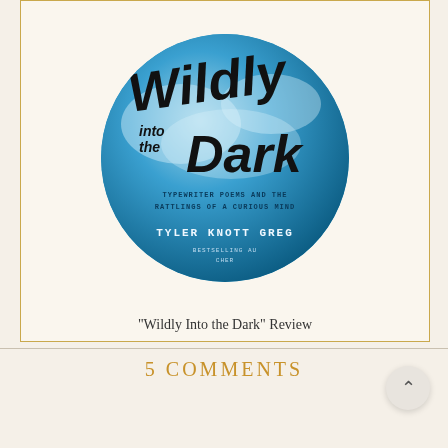[Figure (illustration): Book cover of 'Wildly Into the Dark' by Tyler Knott Gregson, shown as a circular image with a blue sky/cloud background. Title in large brush script font, subtitle reads 'Typewriter Poems and the Rattlings of a Curious Mind'. Author name 'Tyler Knott Greg...' and 'Bestselling Au...' visible.]
"Wildly Into the Dark" Review
5 COMMENTS